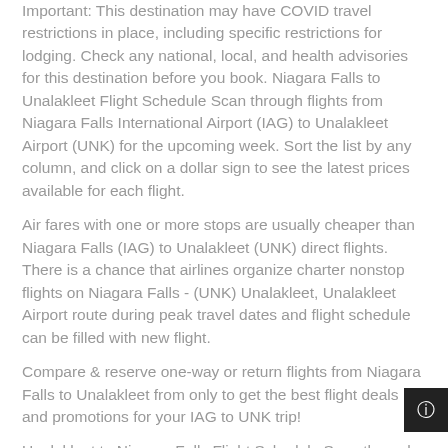Important: This destination may have COVID travel restrictions in place, including specific restrictions for lodging. Check any national, local, and health advisories for this destination before you book. Niagara Falls to Unalakleet Flight Schedule Scan through flights from Niagara Falls International Airport (IAG) to Unalakleet Airport (UNK) for the upcoming week. Sort the list by any column, and click on a dollar sign to see the latest prices available for each flight.
Air fares with one or more stops are usually cheaper than Niagara Falls (IAG) to Unalakleet (UNK) direct flights. There is a chance that airlines organize charter nonstop flights on Niagara Falls - (UNK) Unalakleet, Unalakleet Airport route during peak travel dates and flight schedule can be filled with new flight.
Compare & reserve one-way or return flights from Niagara Falls to Unalakleet from only to get the best flight deals and promotions for your IAG to UNK trip!
Unalakleet to Niagara Falls Flight Schedule Scan through flights from Unalakleet Airport (UNK) to Niagara Falls International Airport (IAG) for the upcoming week. Sort the list by any colum...